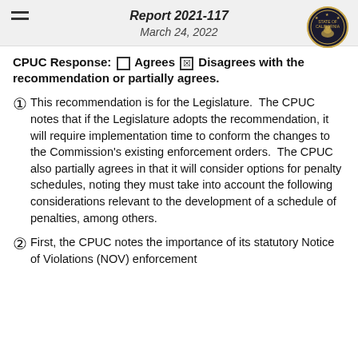Report 2021-117
March 24, 2022
CPUC Response: ☐ Agrees ☒ Disagrees with the recommendation or partially agrees.
① This recommendation is for the Legislature. The CPUC notes that if the Legislature adopts the recommendation, it will require implementation time to conform the changes to the Commission's existing enforcement orders. The CPUC also partially agrees in that it will consider options for penalty schedules, noting they must take into account the following considerations relevant to the development of a schedule of penalties, among others.
② First, the CPUC notes the importance of its statutory Notice of Violations (NOV) enforcement